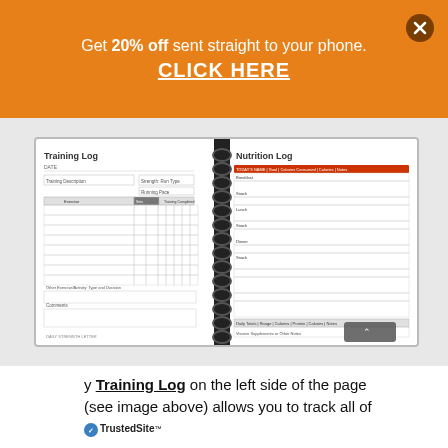Get 20% off sent straight to your phone. CLICK HERE
[Figure (photo): Open spiral-bound notebook showing Training Log on the left page and Nutrition Log on the right page]
y Training Log on the left side of the page (see image above) allows you to track all of